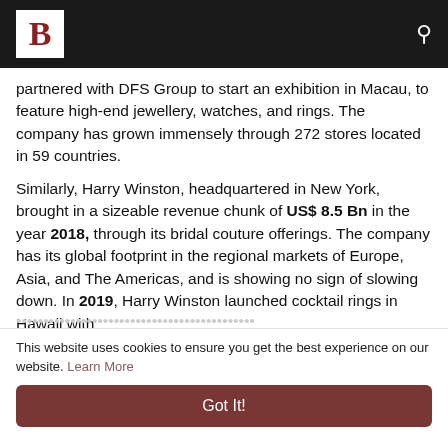B [logo] [search icon]
partnered with DFS Group to start an exhibition in Macau, to feature high-end jewellery, watches, and rings. The company has grown immensely through 272 stores located in 59 countries.
Similarly, Harry Winston, headquartered in New York, brought in a sizeable revenue chunk of US$ 8.5 Bn in the year 2018, through its bridal couture offerings. The company has its global footprint in the regional markets of Europe, Asia, and The Americas, and is showing no sign of slowing down. In 2019, Harry Winston launched cocktail rings in Hawaii with
This website uses cookies to ensure you get the best experience on our website. Learn More Got It!